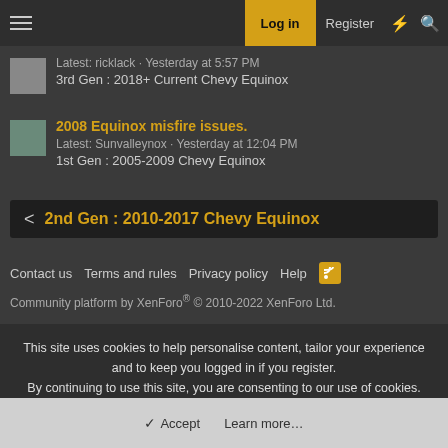Log in | Register
Latest: ricklack · Yesterday at 5:57 PM
3rd Gen : 2018+ Current Chevy Equinox
2008 Equinox misfire issues.
Latest: Sunvalleynox · Yesterday at 12:04 PM
1st Gen : 2005-2009 Chevy Equinox
2nd Gen : 2010-2017 Chevy Equinox
Contact us  Terms and rules  Privacy policy  Help
Community platform by XenForo® © 2010-2022 XenForo Ltd.
This site uses cookies to help personalise content, tailor your experience and to keep you logged in if you register.
By continuing to use this site, you are consenting to our use of cookies.
Accept  Learn more...